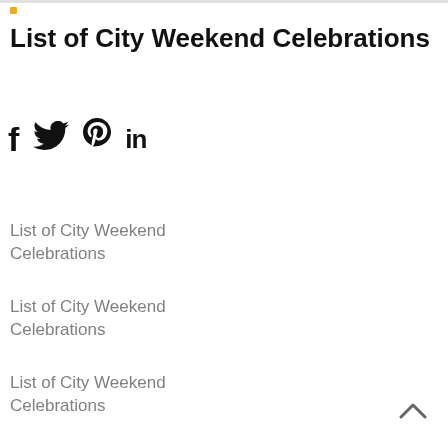List of City Weekend Celebrations
[Figure (other): Social media share icons: Facebook (f), Twitter (bird), Pinterest (P), LinkedIn (in)]
List of City Weekend Celebrations
List of City Weekend Celebrations
List of City Weekend Celebrations